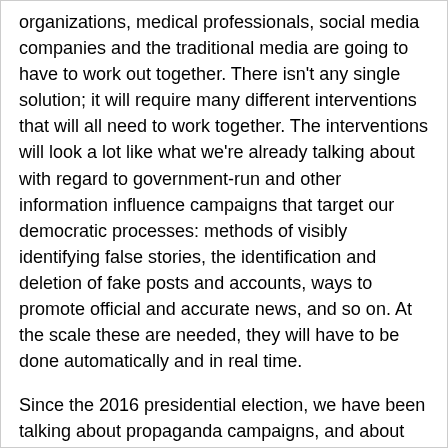organizations, medical professionals, social media companies and the traditional media are going to have to work out together. There isn't any single solution; it will require many different interventions that will all need to work together. The interventions will look a lot like what we're already talking about with regard to government-run and other information influence campaigns that target our democratic processes: methods of visibly identifying false stories, the identification and deletion of fake posts and accounts, ways to promote official and accurate news, and so on. At the scale these are needed, they will have to be done automatically and in real time.
Since the 2016 presidential election, we have been talking about propaganda campaigns, and about how social media amplifies fake news and allows damaging messages to spread easily. It's a hard discussion to have in today's hyperpolarized political climate. After any election, the winning side has every incentive to downplay the role of fake news.
But pandemics are different; there's no political constituency in favor of people dying because of misinformation. Google